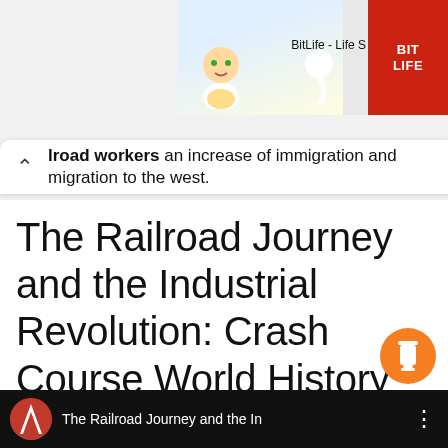[Figure (screenshot): Ad banner for BitLife - Life S game showing cartoon baby and BitLife logo]
lroad workers an increase of immigration and migration to the west.
The Railroad Journey and the Industrial Revolution: Crash Course World History 214
[Figure (screenshot): Video thumbnail showing Crash Course logo and title 'The Railroad Journey and the In']
[Figure (other): Orange coffee cup tip button]